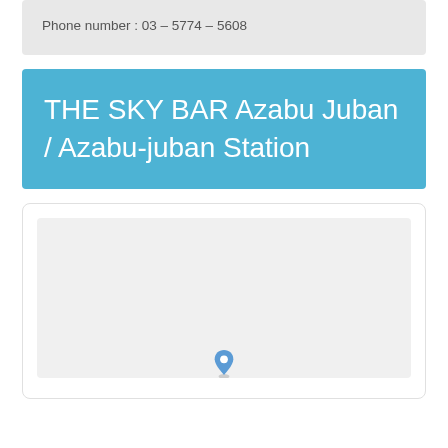Phone number : 03 – 5774 – 5608
THE SKY BAR Azabu Juban / Azabu-juban Station
[Figure (map): A map placeholder card showing a light gray map area with a location pin at the bottom center]